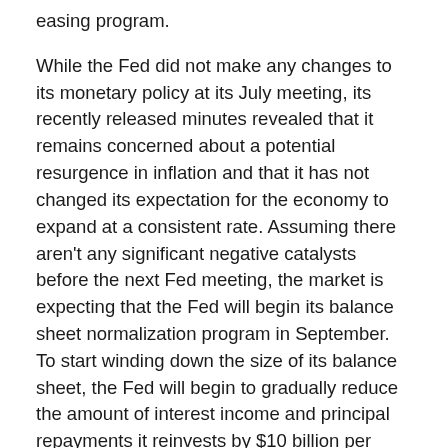easing program.
While the Fed did not make any changes to its monetary policy at its July meeting, its recently released minutes revealed that it remains concerned about a potential resurgence in inflation and that it has not changed its expectation for the economy to expand at a consistent rate. Assuming there aren't any significant negative catalysts before the next Fed meeting, the market is expecting that the Fed will begin its balance sheet normalization program in September. To start winding down the size of its balance sheet, the Fed will begin to gradually reduce the amount of interest income and principal repayments it reinvests by $10 billion per month. Once the reduction program begins, the Fed will then increase the amount of reduction by $10 billion per month until it reaches a cap of $50 billion per month. The Fed will